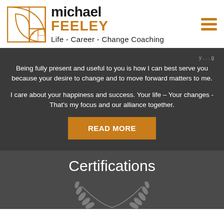[Figure (logo): Michael Feeley Life - Career - Change Coaching logo with Fibonacci spiral golden ratio symbol in a square frame, beside the brand name 'michael FEELEY' and tagline 'Life - Career - Change Coaching']
Being fully present and useful to you is how I can best serve you because your desire to change and to move forward matters to me.
I care about your happiness and success. Your life – Your changes - That's my focus and our alliance together.
READ MORE
Certifications
[Figure (illustration): Partial view of a certification emblem with laurel wreath in grey/silver tones at the bottom of the page]